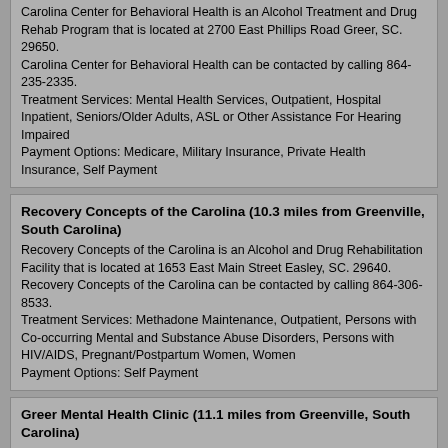Carolina Center for Behavioral Health is an Alcohol Treatment and Drug Rehab Program that is located at 2700 East Phillips Road Greer, SC. 29650.
Carolina Center for Behavioral Health can be contacted by calling 864-235-2335.
Treatment Services: Mental Health Services, Outpatient, Hospital Inpatient, Seniors/Older Adults, ASL or Other Assistance For Hearing Impaired
Payment Options: Medicare, Military Insurance, Private Health Insurance, Self Payment
Recovery Concepts of the Carolina (10.3 miles from Greenville, South Carolina)
Recovery Concepts of the Carolina is an Alcohol and Drug Rehabilitation Facility that is located at 1653 East Main Street Easley, SC. 29640.
Recovery Concepts of the Carolina can be contacted by calling 864-306-8533.
Treatment Services: Methadone Maintenance, Outpatient, Persons with Co-occurring Mental and Substance Abuse Disorders, Persons with HIV/AIDS, Pregnant/Postpartum Women, Women
Payment Options: Self Payment
Greer Mental Health Clinic (11.1 miles from Greenville, South Carolina)
Greer Mental Health Clinic is an Alcohol Rehab and Drug Treatment Facility that is located at 220 Executive Drive Greer, SC. 29651.
Greer Mental Health Clinic can be contacted by calling 864-879-2111.
Treatment Services: Mental Health Services, Outpatient, ASL or Other Assistance For Hearing Impaired, Spanish
Payment Options: Medicaid, Medicare, Military Insurance, Private Health Insurance, Self Payment